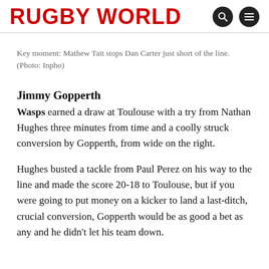RUGBY WORLD
Key moment: Mathew Tait stops Dan Carter just short of the line. (Photo: Inpho)
Jimmy Gopperth
Wasps earned a draw at Toulouse with a try from Nathan Hughes three minutes from time and a coolly struck conversion by Gopperth, from wide on the right.
Hughes busted a tackle from Paul Perez on his way to the line and made the score 20-18 to Toulouse, but if you were going to put money on a kicker to land a last-ditch, crucial conversion, Gopperth would be as good a bet as any and he didn't let his team down.